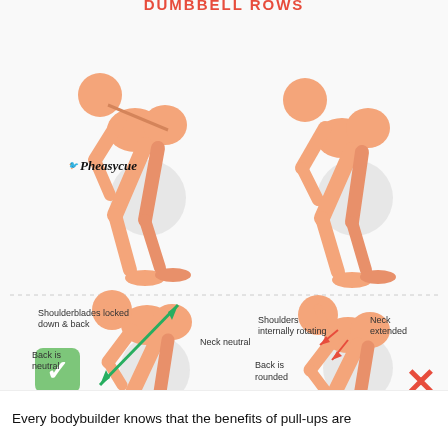[Figure (illustration): Fitness infographic showing correct vs incorrect squat/row form. Top row: two anatomical figures performing a bent-over exercise without labels. Bottom row: left figure labeled with 'Shoulderblades locked down & back', 'Back is neutral', 'Neck neutral', green diagonal arrow indicating neutral spine, green checkmark badge. Right figure labeled with 'Shoulders internally rotating', 'Neck extended', 'Back is rounded', red arrows showing incorrect positions, red X mark. Pheasycue logo on top-left figure.]
Every bodybuilder knows that the benefits of pull-ups are